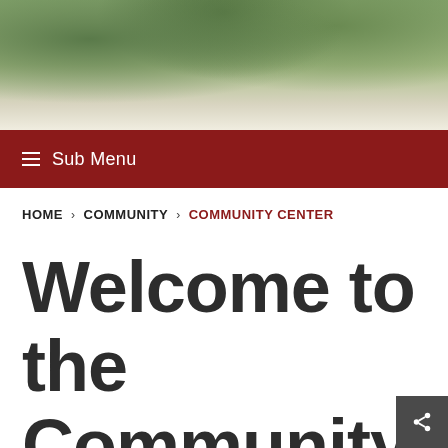[Figure (photo): Outdoor background photo showing trees and greenery fading to white]
☰ Sub Menu
HOME › COMMUNITY › COMMUNITY CENTER
Welcome to the Community Center